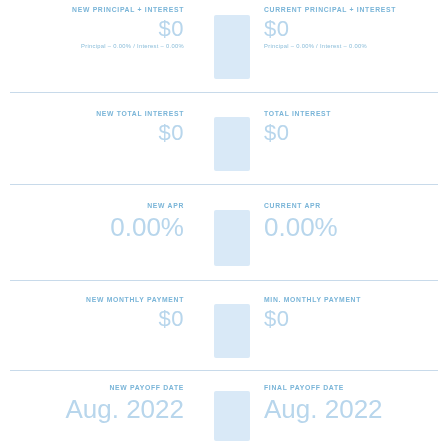NEW PRINCIPAL + INTEREST
$0
Principal – 0.00% / Interest – 0.00%
CURRENT PRINCIPAL + INTEREST
$0
Principal – 0.00% / Interest – 0.00%
NEW TOTAL INTEREST
$0
TOTAL INTEREST
$0
NEW APR
0.00%
CURRENT APR
0.00%
NEW MONTHLY PAYMENT
$0
MIN. MONTHLY PAYMENT
$0
NEW PAYOFF DATE
Aug. 2022
FINAL PAYOFF DATE
Aug. 2022